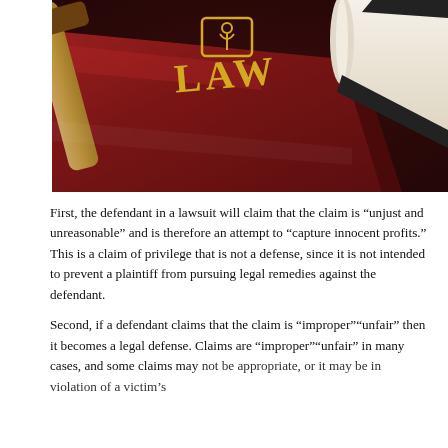[Figure (photo): A red law book with gold 'LAW' text and a small logo/icon, alongside a wooden gavel and a rolled document with a black strap.]
First, the defendant in a lawsuit will claim that the claim is "unjust and unreasonable" and is therefore an attempt to "capture innocent profits." This is a claim of privilege that is not a defense, since it is not intended to prevent a plaintiff from pursuing legal remedies against the defendant.
Second, if a defendant claims that the claim is "improper""unfair" then it becomes a legal defense. Claims are "improper""unfair" in many cases, and some claims may not be appropriate, or it may be in violation of a victim's